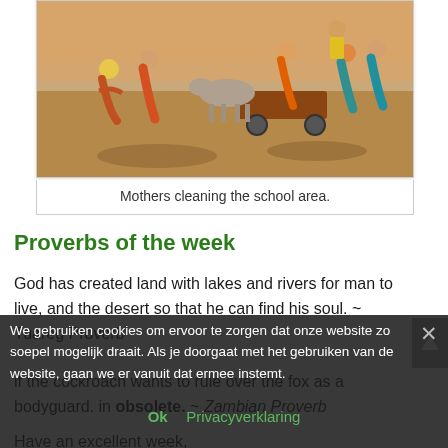[Figure (photo): People (mothers) cleaning a school area outdoors; some bending over, a donkey cart visible, dry sandy ground.]
Mothers cleaning the school area.
Proverbs of the week
God has created land with lakes and rivers for man to live, and the desert so that he can find his soul. ~ Tuareg Proverb
If the cockroach wants to rule over the chicken, then it must hire the fox as a bodyguard. ~ Zambian Proverb (partially obscured by cookie banner and marked obsolete)
Have an excellent week,
We gebruiken cookies om ervoor te zorgen dat onze website zo soepel mogelijk draait. Als je doorgaat met het gebruiken van de website, gaan we er vanuit dat ermee instemt.